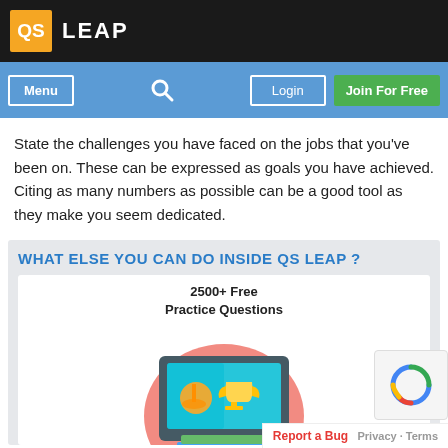QS LEAP
State the challenges you have faced on the jobs that you've been on. These can be expressed as goals you have achieved. Citing as many numbers as possible can be a good tool as they make you seem dedicated.
WHAT ELSE YOU CAN DO INSIDE QS LEAP ?
[Figure (illustration): Illustration showing a computer monitor with a teal screen displaying a lamp and trophy icon, set against a pink circle background, with books stacked below. Text above reads '2500+ Free Practice Questions'.]